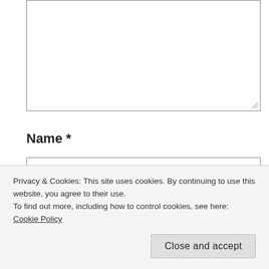[Figure (screenshot): Empty textarea form field with resize handle in bottom-right corner]
Name *
[Figure (screenshot): Name text input field with placeholder text 'ex: jane doe']
Email *
[Figure (screenshot): Email text input field, partially visible]
Privacy & Cookies: This site uses cookies. By continuing to use this website, you agree to their use. To find out more, including how to control cookies, see here: Cookie Policy